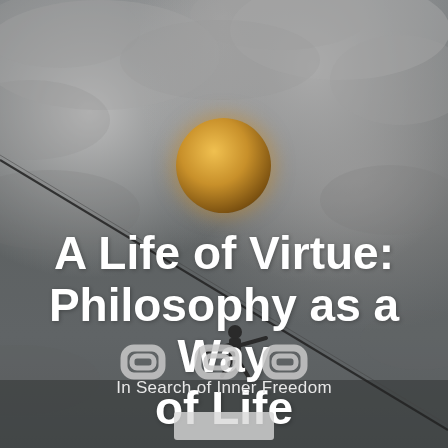[Figure (illustration): Dark stormy sky background with a person walking a tightrope wire that runs diagonally from upper-left to lower-right. A golden glowing sphere hovers above center. Three chain-link icons appear near the bottom center. A small button/card appears at very bottom.]
A Life of Virtue: Philosophy as a Way of Life
In Search of Inner Freedom